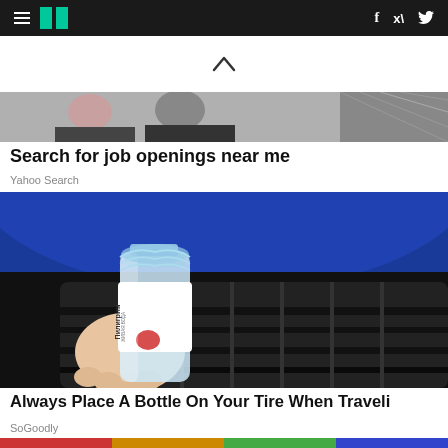HuffPost — navigation bar with hamburger menu, logo, Facebook and Twitter icons
[Figure (other): Upward caret/chevron symbol indicating scroll up]
[Figure (photo): Partially visible cropped photo showing people in the background]
Search for job openings near me
Yahoo Search
[Figure (photo): A hand holding a water bottle (Pilgrim brand, Russian label) placed against a blue car tire tread]
Always Place A Bottle On Your Tire When Traveli
SoGoodly
[Figure (photo): Bottom strip with colorful thumbnails, partially visible]